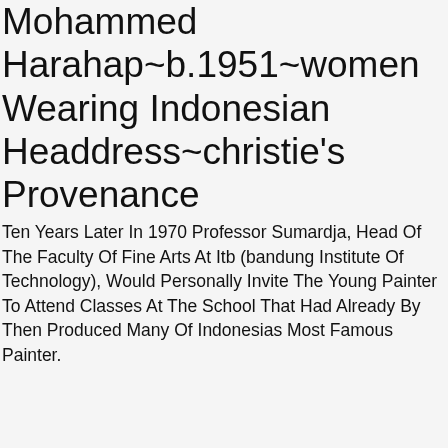Mohammed Harahap~b.1951~women Wearing Indonesian Headdress~christie's Provenance
Ten Years Later In 1970 Professor Sumardja, Head Of The Faculty Of Fine Arts At Itb (bandung Institute Of Technology), Would Personally Invite The Young Painter To Attend Classes At The School That Had Already By Then Produced Many Of Indonesias Most Famous Painter.
Conrad L'allemand (1809-1880) 'count Von Bredow And His Wife'' 2 Portraits (m)
L'allemand Was Educated Together With His Three Brothers At The Academy Of Fine Arts In Vienna. His Works Can Be Tied To The Three Major Stations In His Life From 1830 To 1838 He